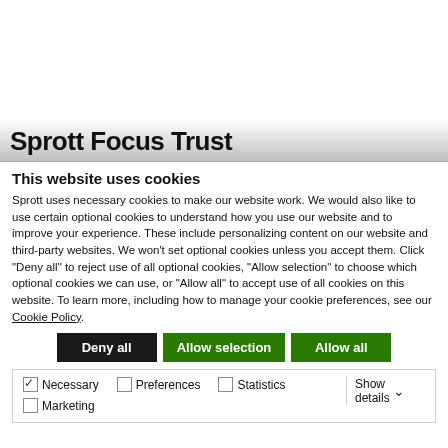Sprott Focus Trust
This website uses cookies
Sprott uses necessary cookies to make our website work. We would also like to use certain optional cookies to understand how you use our website and to improve your experience. These include personalizing content on our website and third-party websites. We won't set optional cookies unless you accept them. Click "Deny all" to reject use of all optional cookies, "Allow selection" to choose which optional cookies we can use, or "Allow all" to accept use of all cookies on this website. To learn more, including how to manage your cookie preferences, see our Cookie Policy.